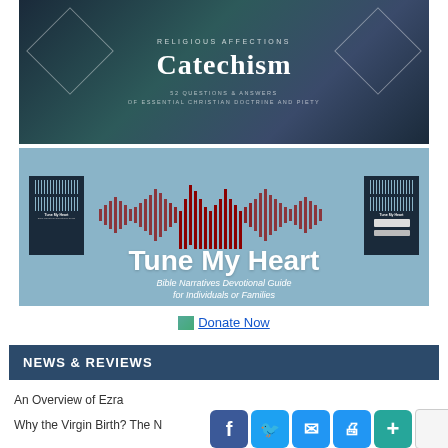[Figure (illustration): Religious Affections Catechism book cover — dark blue-teal gradient background with diamond shapes, text reading 'RELIGIOUS AFFECTIONS', 'Catechism' in large white serif font, '52 QUESTIONS & ANSWERS' and 'OF ESSENTIAL CHRISTIAN DOCTRINE AND PIETY']
[Figure (illustration): Tune My Heart promotional banner — light blue background with sound waveform forming a heart shape, book covers on left and right, large white text 'Tune My Heart', subtitle 'Bible Narratives Devotional Guide for Individuals or Families']
Donate Now
NEWS & REVIEWS
An Overview of Ezra
Why the Virgin Birth? The Ne...ty...e...na...